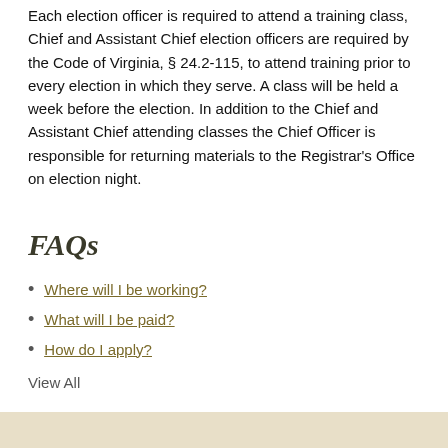Each election officer is required to attend a training class, Chief and Assistant Chief election officers are required by the Code of Virginia, § 24.2-115, to attend training prior to every election in which they serve. A class will be held a week before the election. In addition to the Chief and Assistant Chief attending classes the Chief Officer is responsible for returning materials to the Registrar's Office on election night.
FAQs
Where will I be working?
What will I be paid?
How do I apply?
View All